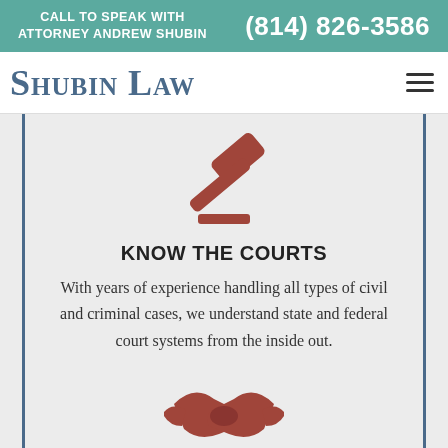CALL TO SPEAK WITH ATTORNEY ANDREW SHUBIN  (814) 826-3586
Shubin Law
[Figure (illustration): Reddish-brown gavel icon with a sound block/base bar, representing legal/court imagery]
KNOW THE COURTS
With years of experience handling all types of civil and criminal cases, we understand state and federal court systems from the inside out.
[Figure (illustration): Reddish-brown handshake icon, partially visible at bottom of page]